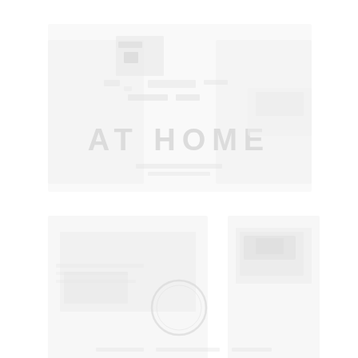[Figure (photo): A very faint/washed-out cover page image. The text 'AT HOME' is visible in the upper-center area. Below is a circular emblem or seal. The overall image is extremely light/white, appearing to be a heavily faded or overexposed cover of a publication titled 'AT HOME'. There are faint outlines of photographs or decorative elements in the background, all nearly white.]